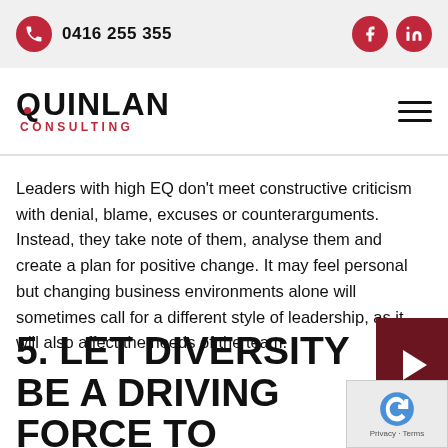0416 255 355
[Figure (logo): Quinlan Consulting logo with red dot in Q and red CONSULTING text]
Leaders with high EQ don't meet constructive criticism with denial, blame, excuses or counterarguments. Instead, they take note of them, analyse them and create a plan for positive change. It may feel personal but changing business environments alone will sometimes call for a different style of leadership, as it will also affect the needs of the team.
5. LET DIVERSITY BE A DRIVING FORCE TO SUCCESS IN THE